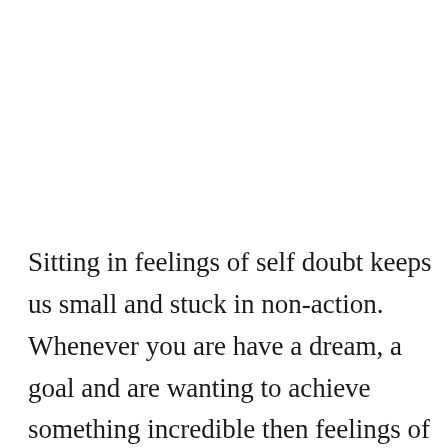Sitting in feelings of self doubt keeps us small and stuck in non-action. Whenever you are have a dream, a goal and are wanting to achieve something incredible then feelings of self doubt can show up and stop us in our